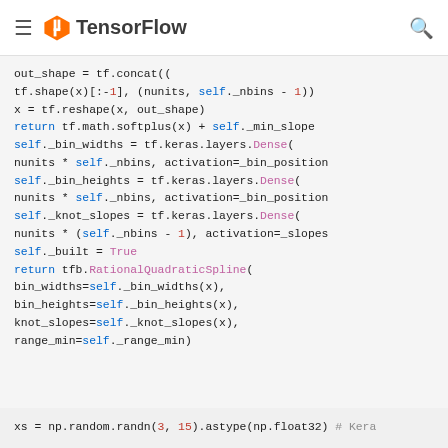TensorFlow
[Figure (screenshot): TensorFlow documentation website header with hamburger menu, TensorFlow logo and search icon]
Code snippet showing Python/TensorFlow code with out_shape, reshape, return, self._bin_widths, self._bin_heights, self._knot_slopes, self._built, return tfb.RationalQuadraticSpline, and xs = np.random.randn lines